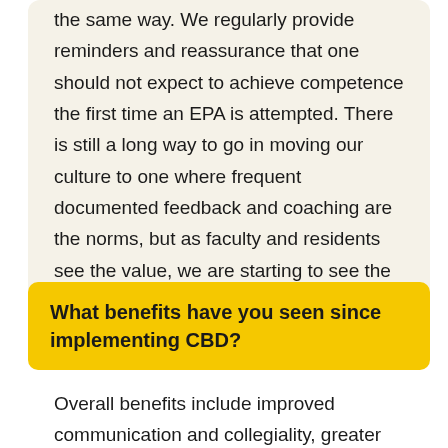the same way. We regularly provide reminders and reassurance that one should not expect to achieve competence the first time an EPA is attempted. There is still a long way to go in moving our culture to one where frequent documented feedback and coaching are the norms, but as faculty and residents see the value, we are starting to see the shift.
What benefits have you seen since implementing CBD?
Overall benefits include improved communication and collegiality, greater faculty and resident